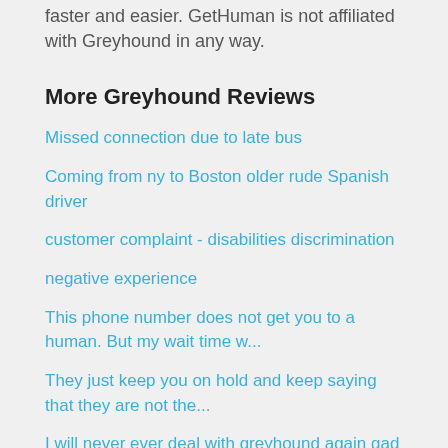faster and easier. GetHuman is not affiliated with Greyhound in any way.
More Greyhound Reviews
Missed connection due to late bus
Coming from ny to Boston older rude Spanish driver
customer complaint - disabilities discrimination
negative experience
This phone number does not get you to a human. But my wait time w...
They just keep you on hold and keep saying that they are not the...
I will never ever deal with greyhound again gad a trip from ****...